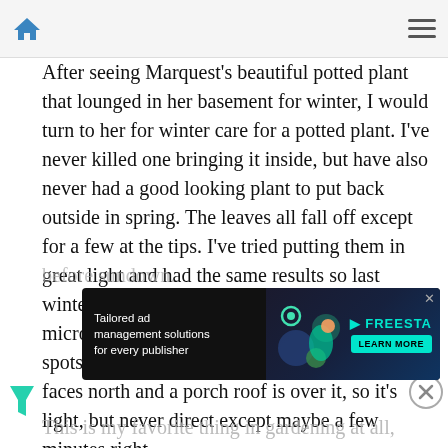[Navigation bar with home icon and hamburger menu]
After seeing Marquest's beautiful potted plant that lounged in her basement for winter, I would turn to her for winter care for a potted plant. I've never killed one bringing it inside, but have also never had a good looking plant to put back outside in spring. The leaves all fall off except for a few at the tips. I've tried putting them in great light and had the same results so last winter, I only kept one, on top of the microwave, and let other plants have the 'good spots.' There's a window next to that, but it faces north and a porch roof is over it, so it's light, but never direct except maybe a few minutes right before sundown.
[Figure (screenshot): Advertisement banner for Freestar: 'Tailored ad management solutions for every publisher' with LEARN MORE button]
This is my favorite thing in gardening at all,